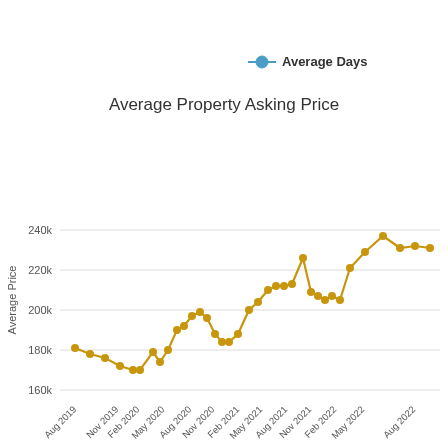[Figure (line-chart): Average Property Asking Price]